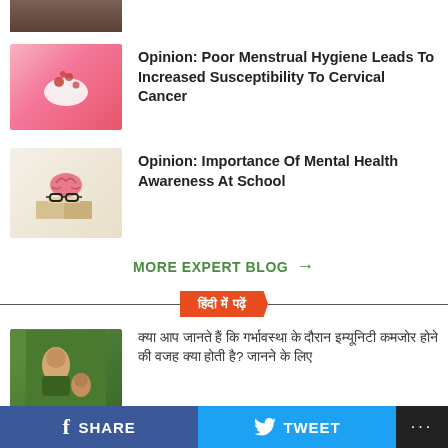[Figure (photo): Partial thumbnail image at top, cropped]
[Figure (photo): Pink background with floral menstrual pad image]
Opinion: Poor Menstrual Hygiene Leads To Increased Susceptibility To Cervical Cancer
[Figure (photo): Brain with glasses on an open book]
Opinion: Importance Of Mental Health Awareness At School
MORE EXPERT BLOG →
हिंदी में पढ़ें
[Figure (photo): Woman with children outdoors]
क्या आप जानते हैं कि गर्भावस्था के दौरान इम्यूनिटी कमजोर होने की वजह क्या होती है? जानने के लिए
[Figure (photo): Smiling woman portrait]
सर्वाइकल कैंसर के बारे में बात करना जरूरी है, यह रोग महिला को कमजोर बनाता है
f SHARE   TWEET   ...